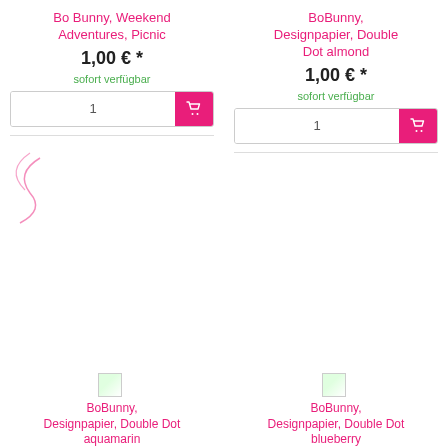Bo Bunny, Weekend Adventures, Picnic
1,00 € *
sofort verfügbar
BoBunny, Designpapier, Double Dot almond
1,00 € *
sofort verfügbar
[Figure (illustration): BoBunny, Designpapier, Double Dot aquamarin product image placeholder]
BoBunny, Designpapier, Double Dot aquamarin
[Figure (illustration): BoBunny, Designpapier, Double Dot blueberry product image placeholder]
BoBunny, Designpapier, Double Dot blueberry